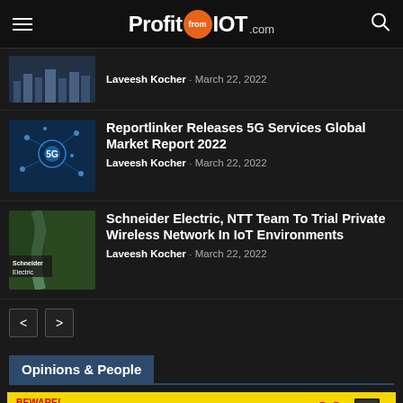ProfitfromIOT.com
Laveesh Kocher - March 22, 2022
Reportlinker Releases 5G Services Global Market Report 2022
Laveesh Kocher - March 22, 2022
Schneider Electric, NTT Team To Trial Private Wireless Network In IoT Environments
Laveesh Kocher - March 22, 2022
Opinions & People
[Figure (infographic): BEWARE! You might fall in LOVE with a magazine! CLICK HERE If you still want to go ahead. It's FREE for now!]